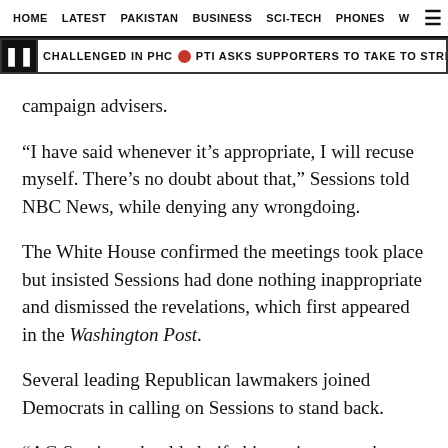HOME   LATEST   PAKISTAN   BUSINESS   SCI-TECH   PHONES   W
CHALLENGED IN PHC  •  PTI ASKS SUPPORTERS TO TAKE TO STREETS AMID POSSIB...
campaign advisers.
“I have said whenever it’s appropriate, I will recuse myself. There’s no doubt about that,” Sessions told NBC News, while denying any wrongdoing.
The White House confirmed the meetings took place but insisted Sessions had done nothing inappropriate and dismissed the revelations, which first appeared in the Washington Post.
Several leading Republican lawmakers joined Democrats in calling on Sessions to stand back.
“AG Sessions should clarify his testimony and recuse himself,” Jason Chaffetz, a member of the House...